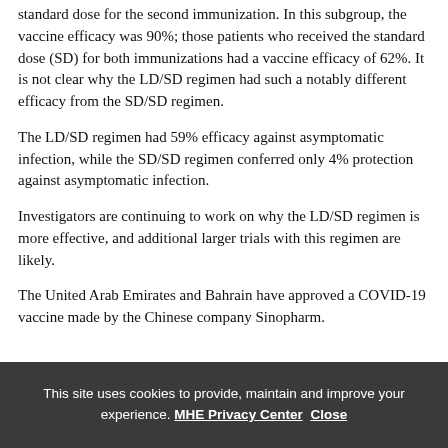standard dose for the second immunization. In this subgroup, the vaccine efficacy was 90%; those patients who received the standard dose (SD) for both immunizations had a vaccine efficacy of 62%. It is not clear why the LD/SD regimen had such a notably different efficacy from the SD/SD regimen.
The LD/SD regimen had 59% efficacy against asymptomatic infection, while the SD/SD regimen conferred only 4% protection against asymptomatic infection.
Investigators are continuing to work on why the LD/SD regimen is more effective, and additional larger trials with this regimen are likely.
The United Arab Emirates and Bahrain have approved a COVID-19 vaccine made by the Chinese company Sinopharm.
This site uses cookies to provide, maintain and improve your experience. MHE Privacy Center  Close